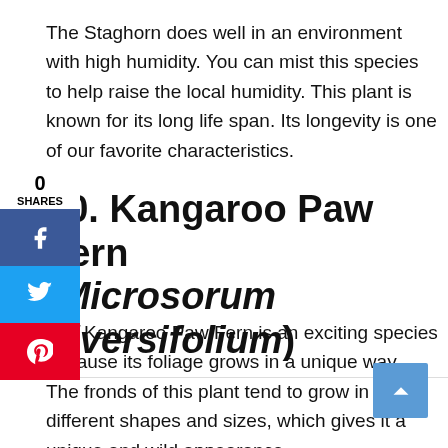The Staghorn does well in an environment with high humidity. You can mist this species to help raise the local humidity. This plant is known for its long life span. Its longevity is one of our favorite characteristics.
10. Kangaroo Paw Fern (Microsorum diversifolium)
The Kangaroo Paw Fern is an exciting species because its foliage grows in a unique way. The fronds of this plant tend to grow in different shapes and sizes, which gives it a unique and wild appearance.